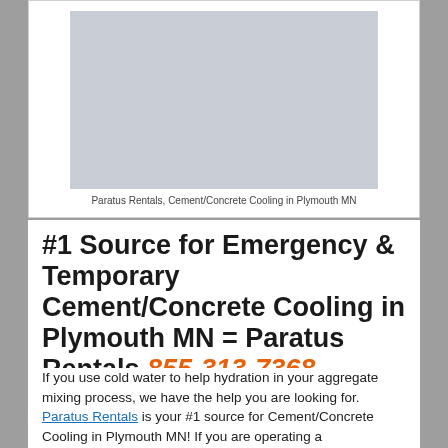[Figure (photo): Gray placeholder image for Paratus Rentals, Cement/Concrete Cooling in Plymouth MN]
Paratus Rentals, Cement/Concrete Cooling in Plymouth MN
#1 Source for Emergency & Temporary Cement/Concrete Cooling in Plymouth MN = Paratus Rentals 855-313-7368
If you use cold water to help hydration in your aggregate mixing process, we have the help you are looking for. Paratus Rentals is your #1 source for Cement/Concrete Cooling in Plymouth MN! If you are operating a Cement/Concrete plant in a warm climate, then you can change the mixing water temperature to decrease the concrete temperature.